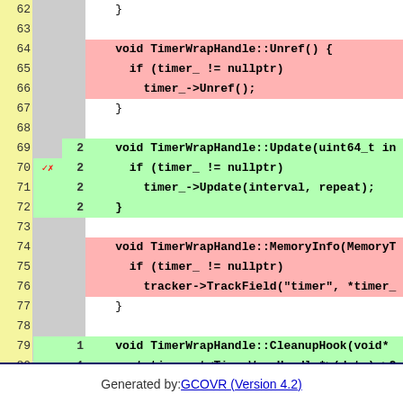[Figure (screenshot): Code coverage diff view showing C++ source lines 62-83 of TimerWrapHandle implementation, with pink background for uncovered/removed lines and green for covered/added lines, with line numbers and coverage counts]
Generated by: GCOVR (Version 4.2)